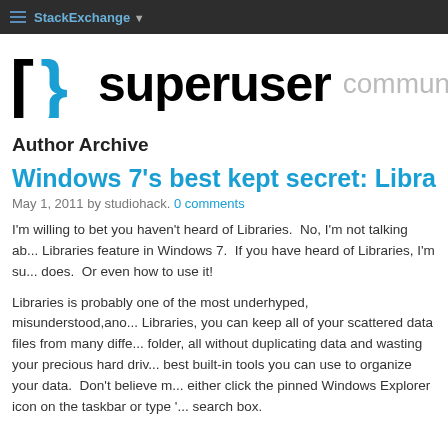StackExchange
[Figure (logo): Super User community blog logo with bracket icon in black and blue]
Author Archive
Windows 7’s best kept secret: Librar…
May 1, 2011 by studiohack. 0 comments
I’m willing to bet you haven't heard of Libraries. No, I’m not talking ab... Libraries feature in Windows 7. If you have heard of Libraries, I’m su... does. Or even how to use it!
Libraries is probably one of the most underhyped, misunderstood,ano... Libraries, you can keep all of your scattered data files from many diffe... folder, all without duplicating data and wasting your precious hard driv... best built-in tools you can use to organize your data. Don’t believe m... either click the pinned Windows Explorer icon on the taskbar or type ‘... search box.